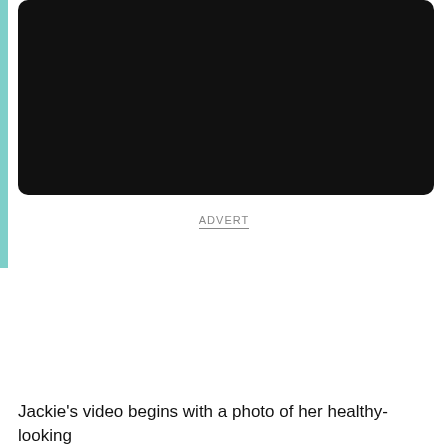[Figure (other): Black video player rectangle with rounded corners on white background, with a teal/cyan accent bar on the left side]
ADVERT
Jackie's video begins with a photo of her healthy-looking